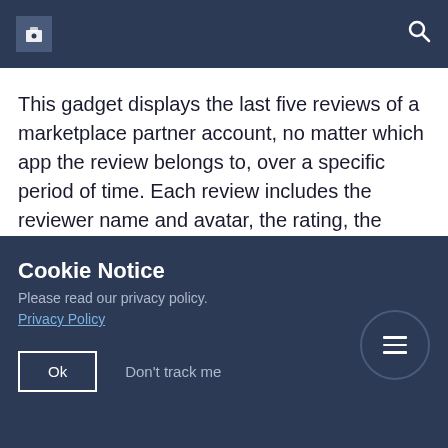This gadget displays the last five reviews of a marketplace partner account, no matter which app the review belongs to, over a specific period of time. Each review includes the reviewer name and avatar, the rating, the rated app, the total number of reviews and rating of the app, and the comment that the reviewer left.
Cookie Notice
Please read our privacy policy.
Privacy Policy
Ok
Don't track me